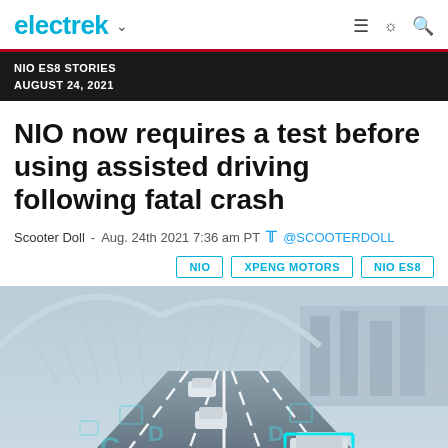electrek
NIO ES8 STORIES
AUGUST 24, 2021
NIO now requires a test before using assisted driving following fatal crash
Scooter Doll - Aug. 24th 2021 7:36 am PT @SCOOTERDOLL
NIO   XPENG MOTORS   NIO ES8
[Figure (photo): Aerial perspective illustration of autonomous/assisted driving technology on a highway bridge with cars and cyan bounding boxes overlaid, showing computer vision detection.]